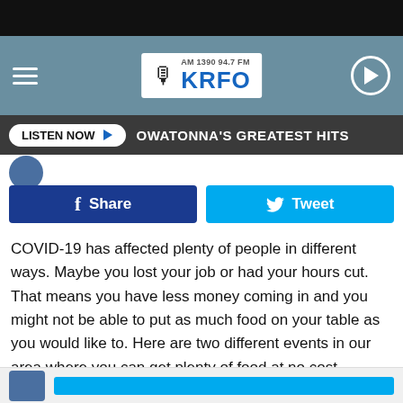[Figure (screenshot): KRFO Radio station website header with logo AM 1390 94.7 FM KRFO, hamburger menu, and play button on teal/grey background]
LISTEN NOW ▶   OWATONNA'S GREATEST HITS
[Figure (other): Share on Facebook button (dark blue) and Tweet button (light blue)]
COVID-19 has affected plenty of people in different ways. Maybe you lost your job or had your hours cut. That means you have less money coming in and you might not be able to put as much food on your table as you would like to. Here are two different events in our area where you can get plenty of food at no cost.
[Figure (other): Bottom thumbnail strip with blue circle image and cyan title bar, partially visible]